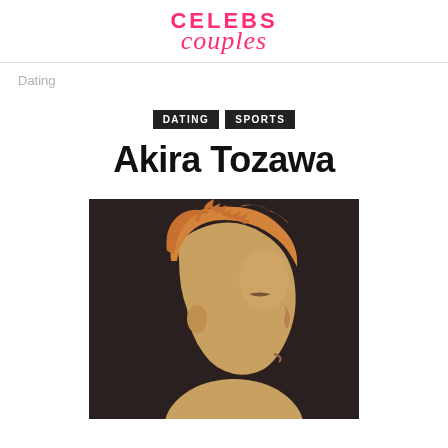CELEBS couples
Dating
DATING   SPORTS
Akira Tozawa
[Figure (photo): Side profile photo of Akira Tozawa with dyed blonde/orange spiky hair against a dark background]